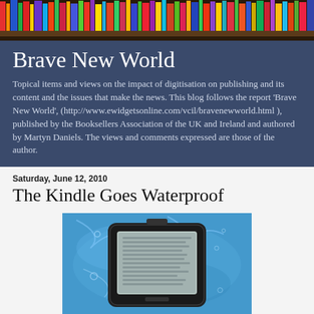[Figure (photo): Colorful books on shelves — header banner image]
Brave New World
Topical items and views on the impact of digitisation on publishing and its content and the issues that make the news. This blog follows the report 'Brave New World', (http://www.ewidgetsonline.com/vcil/bravenewworld.html ), published by the Booksellers Association of the UK and Ireland and authored by Martyn Daniels. The views and comments expressed are those of the author.
Saturday, June 12, 2010
The Kindle Goes Waterproof
[Figure (photo): A Kindle e-reader in a waterproof case submerged in blue water]